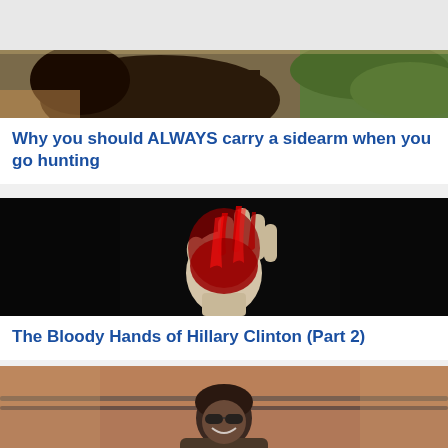[Figure (photo): Partial animal photo (appears to be a dark animal, possibly a boar or bear) with foliage in background, cropped at top of page]
Why you should ALWAYS carry a sidearm when you go hunting
[Figure (photo): A bloody hand raised against a black background, covered in red blood]
The Bloody Hands of Hillary Clinton (Part 2)
[Figure (photo): A smiling woman wearing sunglasses, outdoors with a brown/reddish background and metal railing visible]